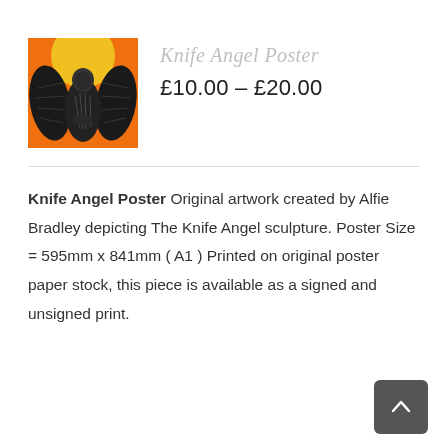[Figure (illustration): Product image of the Knife Angel Poster — orange background with dark angel figure made of knives]
Knife Angel Poster
£10.00 – £20.00
Knife Angel Poster Original artwork created by Alfie Bradley depicting The Knife Angel sculpture. Poster Size = 595mm x 841mm ( A1 ) Printed on original poster paper stock, this piece is available as a signed and unsigned print.